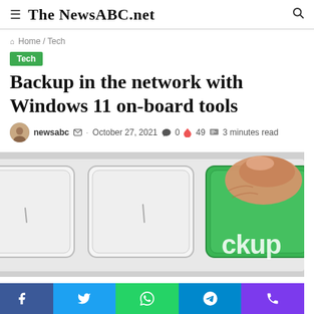☰ The NewsABC.net 🔍
🏠 Home / Tech
Tech
Backup in the network with Windows 11 on-board tools
newsabc ✉ · October 27, 2021 💬 0 🔥 49 📄 3 minutes read
[Figure (photo): Close-up of a keyboard with a green key labeled 'ckup' (backup) being pressed by a finger]
Social share bar: Facebook, Twitter, WhatsApp, Telegram, Phone